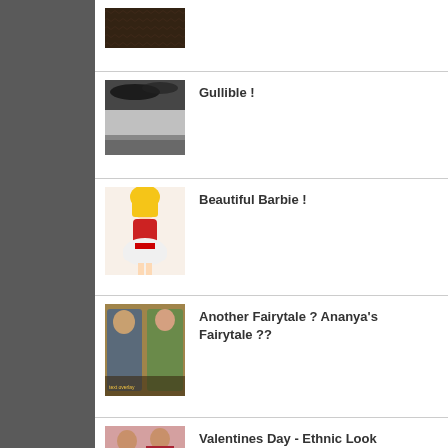[Figure (photo): Dark textured image, first list item thumbnail]
[Figure (photo): Black and white landscape with tree branches, Gullible entry]
Gullible !
[Figure (photo): Barbie doll in red and white dress, Beautiful Barbie entry]
Beautiful Barbie !
[Figure (photo): Bollywood couple, Another Fairytale entry]
Another Fairytale ? Ananya's Fairytale ??
[Figure (photo): Indian woman in ethnic attire, Valentines Day entry]
Valentines Day - Ethnic Look